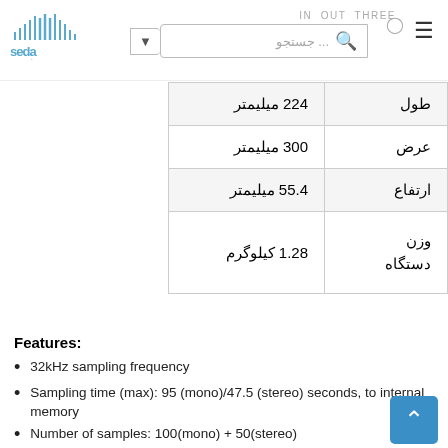seda center - جستجو ... - IN  OUT  THREE
| label | value |
| --- | --- |
| طول | 224 میلیمتر |
| عرض | 300 میلیمتر |
| ارتفاع | 55.4 میلیمتر |
| وزن دستگاه | 1.28 کیلوگرم |
Features:
32kHz sampling frequency
Sampling time (max): 95 (mono)/47.5 (stereo) seconds, to internal memory
Number of samples: 100(mono) + 50(stereo)